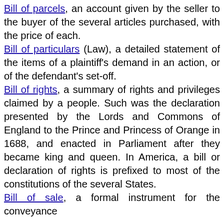Bill of parcels, an account given by the seller to the buyer of the several articles purchased, with the price of each.
Bill of particulars (Law), a detailed statement of the items of a plaintiff's demand in an action, or of the defendant's set-off.
Bill of rights, a summary of rights and privileges claimed by a people. Such was the declaration presented by the Lords and Commons of England to the Prince and Princess of Orange in 1688, and enacted in Parliament after they became king and queen. In America, a bill or declaration of rights is prefixed to most of the constitutions of the several States.
Bill of sale, a formal instrument for the conveyance...